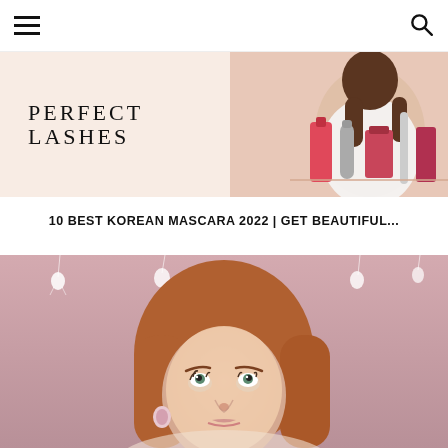Menu | Search
[Figure (photo): Beauty/cosmetics blog header image showing 'Perfect Lashes' text with cosmetic products and a person in background]
10 BEST KOREAN MASCARA 2022 | GET BEAUTIFUL...
[Figure (photo): Young red-haired woman looking up against a pink background with hanging light bulb decorations]